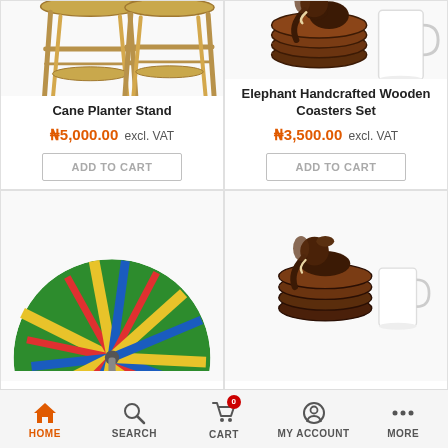[Figure (photo): Cane Planter Stand - two wooden/bamboo stool-style plant stands]
Cane Planter Stand
₦5,000.00 excl. VAT
ADD TO CART
[Figure (photo): Elephant Handcrafted Wooden Coasters Set with elephant figurine and white mug]
Elephant Handcrafted Wooden Coasters Set
₦3,500.00 excl. VAT
ADD TO CART
[Figure (photo): Colorful kente fabric folding fan in green, red, yellow, blue]
[Figure (photo): Elephant wooden coasters set with white mug]
HOME  SEARCH  CART 0  MY ACCOUNT  MORE